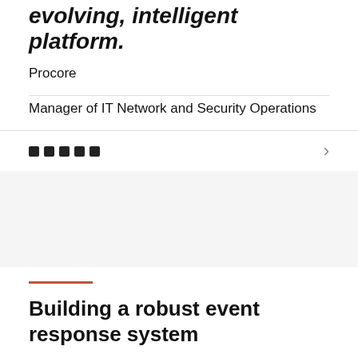evolving, intelligent platform.
Procore
Manager of IT Network and Security Operations
[Figure (other): Navigation strip with five square dot indicators and a right-arrow chevron]
Building a robust event response system
Slack is integral to the day-to-day operations of Procore: keeping the business running and allowing IT professionals to loop in necessary parties during projects and events. “Slack is very much at the